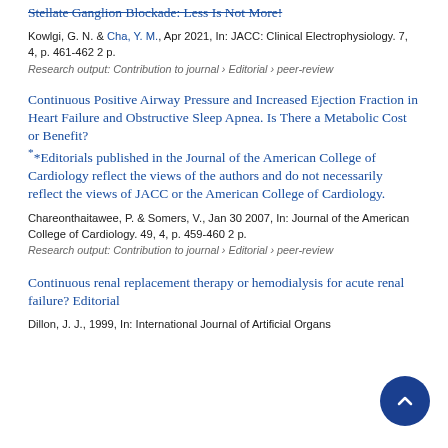Stellate Ganglion Blockade: Less Is Not More!
Kowlgi, G. N. & Cha, Y. M., Apr 2021, In: JACC: Clinical Electrophysiology. 7, 4, p. 461-462 2 p.
Research output: Contribution to journal › Editorial › peer-review
Continuous Positive Airway Pressure and Increased Ejection Fraction in Heart Failure and Obstructive Sleep Apnea. Is There a Metabolic Cost or Benefit? * *Editorials published in the Journal of the American College of Cardiology reflect the views of the authors and do not necessarily reflect the views of JACC or the American College of Cardiology.
Chareonthaitawee, P. & Somers, V., Jan 30 2007, In: Journal of the American College of Cardiology. 49, 4, p. 459-460 2 p.
Research output: Contribution to journal › Editorial › peer-review
Continuous renal replacement therapy or hemodialysis for acute renal failure? Editorial
Dillon, J. J., 1999, In: International Journal of Artificial Organs